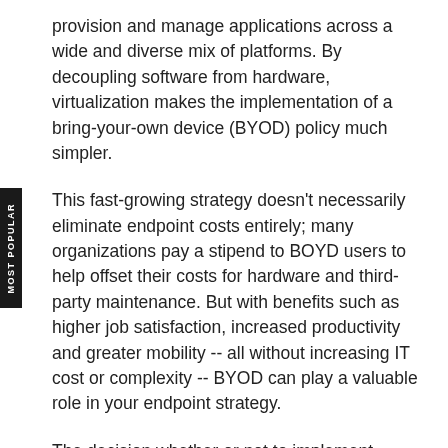provision and manage applications across a wide and diverse mix of platforms. By decoupling software from hardware, virtualization makes the implementation of a bring-your-own device (BYOD) policy much simpler.
This fast-growing strategy doesn't necessarily eliminate endpoint costs entirely; many organizations pay a stipend to BOYD users to help offset their costs for hardware and third-party maintenance. But with benefits such as higher job satisfaction, increased productivity and greater mobility -- all without increasing IT cost or complexity -- BYOD can play a valuable role in your endpoint strategy.
The decision whether or not to implement BYOD depends on many factors, including IT's preference for control and tolerance for open policies. Designing the right BYOD policy for your organization takes careful consideration -- all those elements